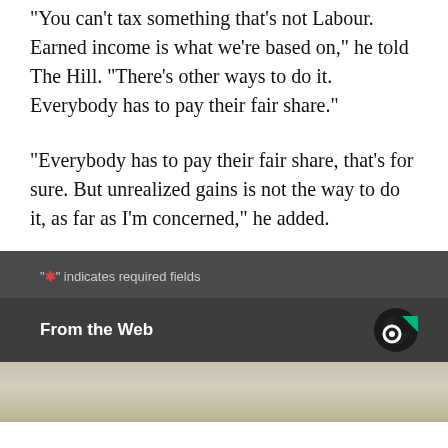“You can’t tax something that’s not Labour. Earned income is what we’re based on,” he told The Hill. “There’s other ways to do it. Everybody has to pay their fair share.”
“Everybody has to pay their fair share, that’s for sure. But unrealized gains is not the way to do it, as far as I’m concerned,” he added.
"★" indicates required fields
From the Web
[Figure (photo): Bottom portion of an image showing what appears to be food or organic material, partially cut off at the bottom of the page.]